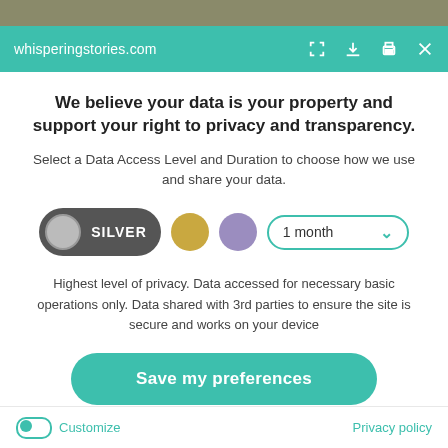whisperingstories.com
We believe your data is your property and support your right to privacy and transparency.
Select a Data Access Level and Duration to choose how we use and share your data.
[Figure (infographic): Privacy level selector with SILVER pill toggle, gold circle, purple circle, and 1 month duration dropdown]
Highest level of privacy. Data accessed for necessary basic operations only. Data shared with 3rd parties to ensure the site is secure and works on your device
Save my preferences
Customize   Privacy policy